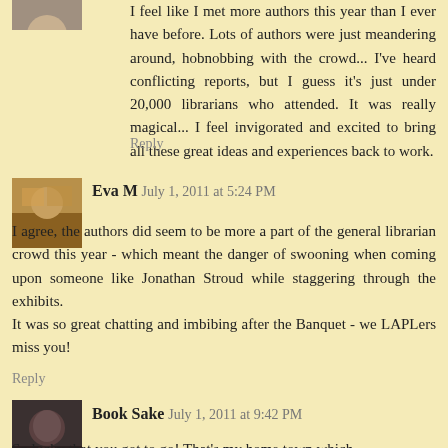I feel like I met more authors this year than I ever have before. Lots of authors were just meandering around, hobnobbing with the crowd... I've heard conflicting reports, but I guess it's just under 20,000 librarians who attended. It was really magical... I feel invigorated and excited to bring all these great ideas and experiences back to work.
Reply
Eva M   July 1, 2011 at 5:24 PM
I agree, the authors did seem to be more a part of the general librarian crowd this year - which meant the danger of swooning when coming upon someone like Jonathan Stroud while staggering through the exhibits.
It was so great chatting and imbibing after the Banquet - we LAPLers miss you!
Reply
Book Sake   July 1, 2011 at 9:42 PM
So lucky that you got to go! That's my home town which